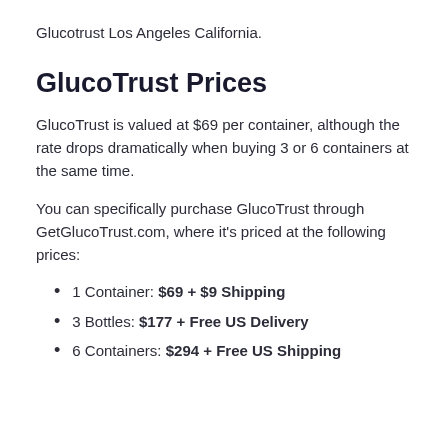Glucotrust Los Angeles California.
GlucoTrust Prices
GlucoTrust is valued at $69 per container, although the rate drops dramatically when buying 3 or 6 containers at the same time.
You can specifically purchase GlucoTrust through GetGlucoTrust.com, where it's priced at the following prices:
1 Container: $69 + $9 Shipping
3 Bottles: $177 + Free US Delivery
6 Containers: $294 + Free US Shipping